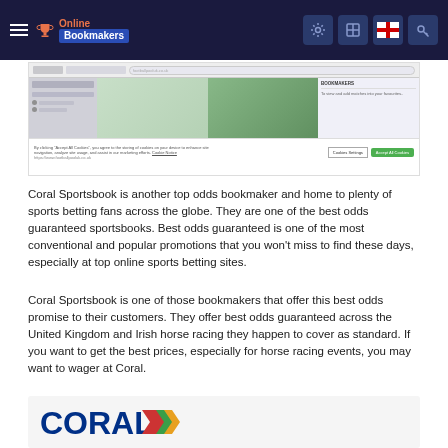Online Bookmakers
[Figure (screenshot): Screenshot of a sports betting website with cookie consent banner, showing navigation sidebar, sports imagery, and a cookie settings popup.]
Coral Sportsbook is another top odds bookmaker and home to plenty of sports betting fans across the globe. They are one of the best odds guaranteed sportsbooks. Best odds guaranteed is one of the most conventional and popular promotions that you won’t miss to find these days, especially at top online sports betting sites.
Coral Sportsbook is one of those bookmakers that offer this best odds promise to their customers. They offer best odds guaranteed across the United Kingdom and Irish horse racing they happen to cover as standard. If you want to get the best prices, especially for horse racing events, you may want to wager at Coral.
[Figure (logo): Coral logo in blue text with a colorful arrow/chevron graphic]